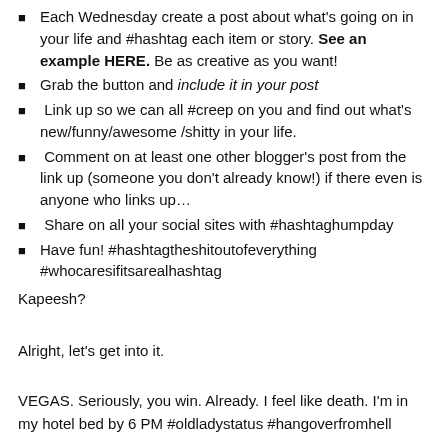Each Wednesday create a post about what's going on in your life and #hashtag each item or story. See an example HERE. Be as creative as you want!
Grab the button and include it in your post
Link up so we can all #creep on you and find out what's new/funny/awesome /shitty in your life.
Comment on at least one other blogger's post from the link up (someone you don't already know!) if there even is anyone who links up…
Share on all your social sites with #hashtaghumpday
Have fun! #hashtagtheshitoutofeverything #whocaresifitsarealhashtag
Kapeesh?
Alright, let's get into it.
VEGAS. Seriously, you win. Already. I feel like death. I'm in my hotel bed by 6 PM #oldladystatus #hangoverfromhell